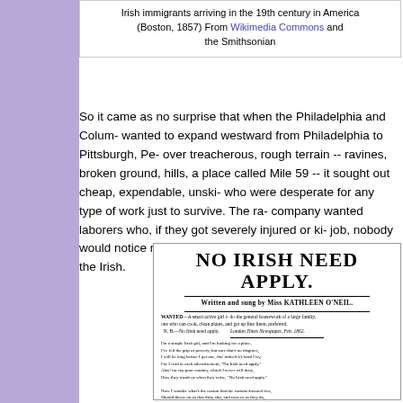Irish immigrants arriving in the 19th century in America (Boston, 1857) From Wikimedia Commons and the Smithsonian
So it came as no surprise that when the Philadelphia and Colum- wanted to expand westward from Philadelphia to Pittsburgh, Pe- over treacherous, rough terrain -- ravines, broken ground, hills, a place called Mile 59 -- it sought out cheap, expendable, unski- who were desperate for any type of work just to survive. The ra- company wanted laborers who, if they got severely injured or ki- job, nobody would notice much or care about. In short, the railr- wanted the Irish.
[Figure (illustration): Sheet music cover titled 'NO IRISH NEED APPLY.' Written and sung by Miss KATHLEEN O'NEIL. Contains a wanted advertisement and poem lyrics.]